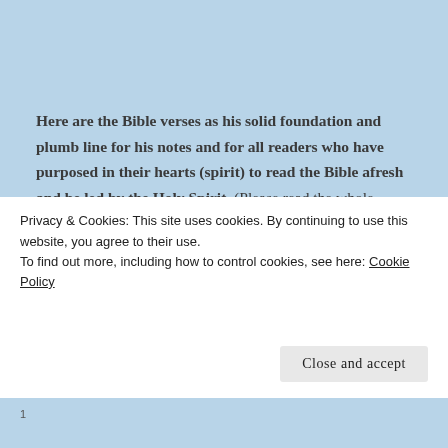Here are the Bible verses as his solid foundation and plumb line for his notes and for all readers who have purposed in their hearts (spirit) to read the Bible afresh and be led by the Holy Spirit. (Please read the whole chapter of 1 Corinthians 2).
~~~~~~~~~~~~~~~~~~~~~~~~~~~~~~~~Original posted on 03/16/2013
Privacy & Cookies: This site uses cookies. By continuing to use this website, you agree to their use.
To find out more, including how to control cookies, see here: Cookie Policy
Close and accept